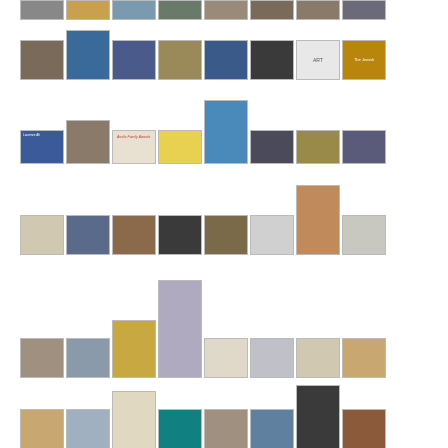[Figure (photo): Grid of thumbnail images arranged in rows showing art gallery photos, artwork, calligraphy, sculptures, and exhibition images. Multiple rows of small thumbnail photos with varying heights arranged in a collage-style layout. Includes text label 'ART' and a gold/tan colored tile. Images include mosaic art, calligraphy, gallery interiors, nature scenes, and decorative objects.]